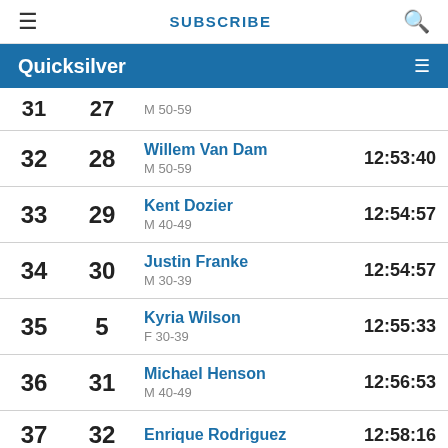≡   SUBSCRIBE   🔍
Quicksilver  ≡
| Overall | Gender | Name / Category | Time |
| --- | --- | --- | --- |
| 31 | 27 | M 50-59 |  |
| 32 | 28 | Willem Van Dam
M 50-59 | 12:53:40 |
| 33 | 29 | Kent Dozier
M 40-49 | 12:54:57 |
| 34 | 30 | Justin Franke
M 30-39 | 12:54:57 |
| 35 | 5 | Kyria Wilson
F 30-39 | 12:55:33 |
| 36 | 31 | Michael Henson
M 40-49 | 12:56:53 |
| 37 | 32 | Enrique Rodriguez | 12:58:16 |